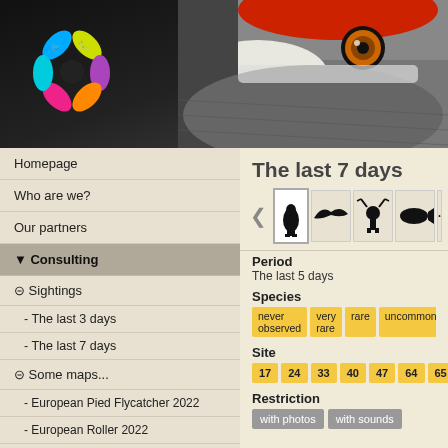[Figure (photo): Header banner with colorful bird-themed logo on left and close-up photo of a bird (woodpecker) face showing orange eye on right]
Homepage | Who are we? | Our partners | Consulting
Homepage
Who are we?
Our partners
▼ Consulting
⊟ Sightings
- The last 3 days
- The last 7 days
⊟ Some maps...
- European Pied Flycatcher 2022
- European Roller 2022
- Long-tailed Blue 2022
- Two-tailed Pasha 21-22
The last 7 days
Period
The last 5 days
Species
never observed | very rare | rare | uncommon | es...
Site
17 | 24 | 33 | 40 | 47 | 64 | 65
Restriction
with photos | with sounds